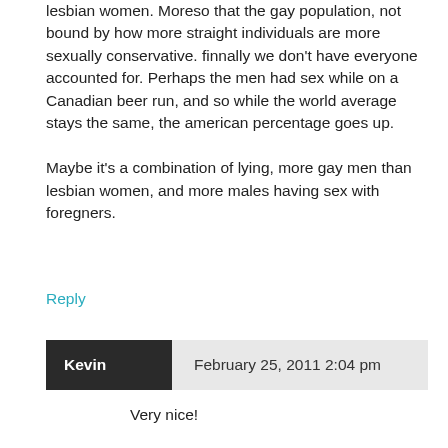lesbian women. Moreso that the gay population, not bound by how more straight individuals are more sexually conservative. finnally we don't have everyone accounted for. Perhaps the men had sex while on a Canadian beer run, and so while the world average stays the same, the american percentage goes up.

Maybe it's a combination of lying, more gay men than lesbian women, and more males having sex with foregners.
Reply
Kevin — February 25, 2011 2:04 pm
Very nice!